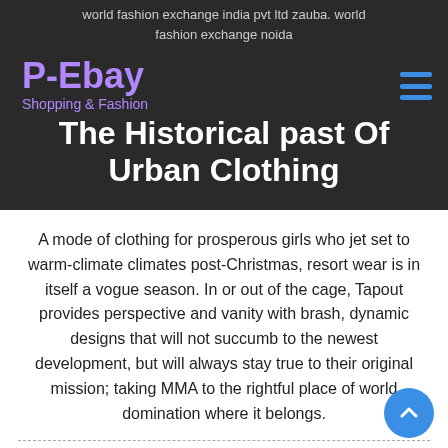world fashion exchange india pvt ltd zauba. world fashion exchange noida
P-Ebay
Shopping & Fashion
The Historical past Of Urban Clothing
A mode of clothing for prosperous girls who jet set to warm-climate climates post-Christmas, resort wear is in itself a vogue season. In or out of the cage, Tapout provides perspective and vanity with brash, dynamic designs that will not succumb to the newest development, but will always stay true to their original mission; taking MMA to the rightful place of world domination where it belongs.
This in turn influenced streetwear as a complete and the several types of kinds and designs had been quickly adopted worldwide. It's a must to be updated on a regular basis because trend in teenagers